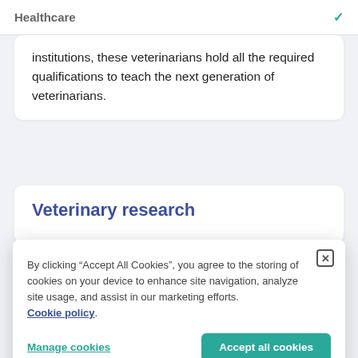Healthcare
institutions, these veterinarians hold all the required qualifications to teach the next generation of veterinarians.
Veterinary research
By clicking “Accept All Cookies”, you agree to the storing of cookies on your device to enhance site navigation, analyze site usage, and assist in our marketing efforts. Cookie policy.
Manage cookies  Accept all cookies
universities, the pharmaceutical industry, and